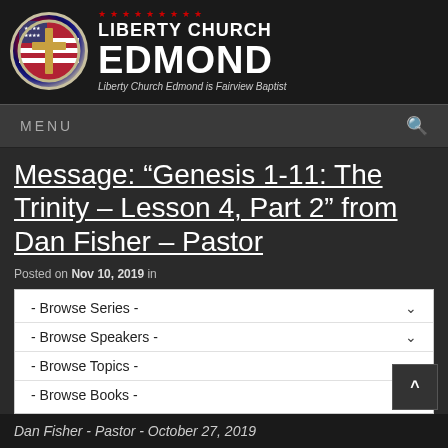[Figure (logo): Liberty Church Edmond logo with circular emblem showing cross over American flag, surrounded by red stars. Text reads LIBERTY CHURCH EDMOND. Subtitle: Liberty Church Edmond is Fairview Baptist]
MENU
Message: “Genesis 1-11: The Trinity – Lesson 4, Part 2” from Dan Fisher – Pastor
Posted on Nov 10, 2019 in
- Browse Series -
- Browse Speakers -
- Browse Topics -
- Browse Books -
Dan Fisher - Pastor - October 27, 2019